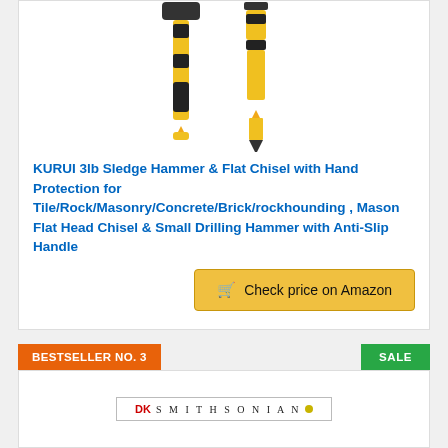[Figure (photo): Two yellow and black tools: a sledge hammer and a flat chisel with anti-slip handles, shown side by side on white background]
KURUI 3lb Sledge Hammer & Flat Chisel with Hand Protection for Tile/Rock/Masonry/Concrete/Brick/rockhounding , Mason Flat Head Chisel & Small Drilling Hammer with Anti-Slip Handle
Check price on Amazon
BESTSELLER NO. 3
SALE
[Figure (logo): DK Smithsonian logo with small yellow/gold dot]